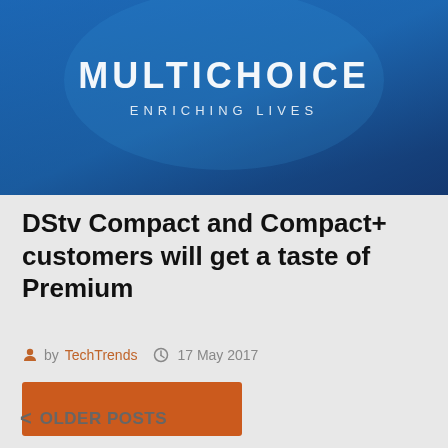[Figure (logo): MultiChoice Enriching Lives logo on a blue gradient banner background]
DStv Compact and Compact+ customers will get a taste of Premium
by TechTrends   17 May 2017
[Figure (other): Orange rectangular button/image placeholder]
< OLDER POSTS